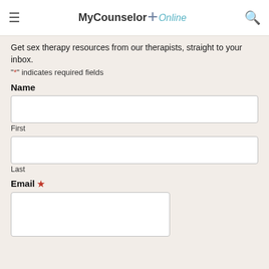MyCounselor Online
Get sex therapy resources from our therapists, straight to your inbox.
"*" indicates required fields
Name
First
Last
Email *